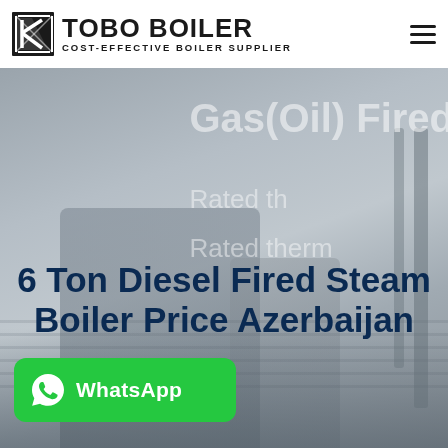TOBO BOILER — COST-EFFECTIVE BOILER SUPPLIER
[Figure (photo): Industrial boiler equipment photo used as hero background, partially obscured by gray overlay. Shows large boiler structures and pipes.]
Gas(Oil) Fired
Rated th
Rated therm
6 Ton Diesel Fired Steam Boiler Price Azerbaijan
[Figure (other): WhatsApp contact button — green rounded rectangle with WhatsApp icon and label 'WhatsApp']